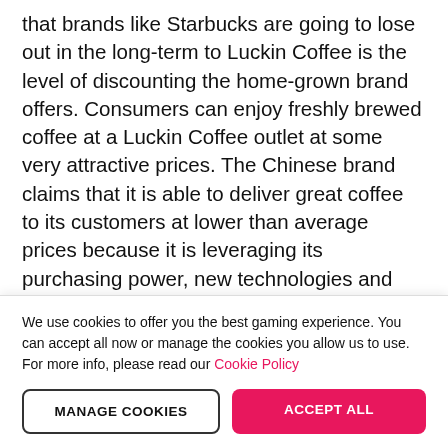that brands like Starbucks are going to lose out in the long-term to Luckin Coffee is the level of discounting the home-grown brand offers. Consumers can enjoy freshly brewed coffee at a Luckin Coffee outlet at some very attractive prices. The Chinese brand claims that it is able to deliver great coffee to its customers at lower than average prices because it is leveraging its purchasing power, new technologies and lower cost delivery techniques.
Others assume, however, that Luckin Coffee is operating at a loss deliberately in order to make life difficult for the more established brands. Once they are defeated, then consumers may well see price rises from a less competitive marketplace. Again
We use cookies to offer you the best gaming experience. You can accept all now or manage the cookies you allow us to use. For more info, please read our Cookie Policy